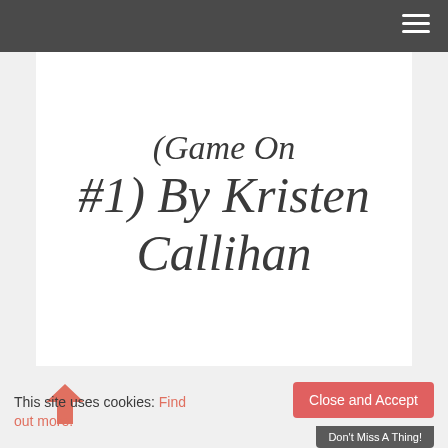Navigation bar with hamburger menu
(Game On #1) By Kristen Callihan
POSTED AUGUST 16, 2016 BY FMA IN 5 STARS – IT FED MY ADDICTION!
[Figure (photo): Book cover photo (dark image) beside 'The Hook Up' text]
This site uses cookies: Find out more.
Close and Accept
Don't Miss A Thing!